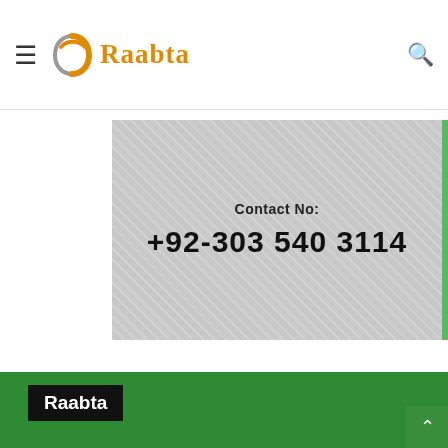Raabta
[Figure (other): Advertisement banner with textured gray background, green right border, showing Contact No: +92-303 540 3114]
Contact No:
+92-303 540 3114
Raabta
Raabta is the largest independent publisher working in the field of Business, Startups, Enterprenurship, Education, Health, Science, Technlogy, Lifestyle and Gadgets. Already a leader in Science & Technology, Raabta is bringing the same expertise and comprehensive coverage to Education, Business, startups, sports, and many other